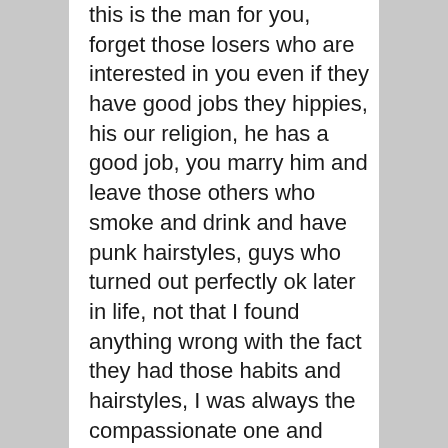this is the man for you, forget those losers who are interested in you even if they have good jobs they hippies, his our religion, he has a good job, you marry him and leave those others who smoke and drink and have punk hairstyles, guys who turned out perfectly ok later in life, not that I found anything wrong with the fact they had those habits and hairstyles, I was always the compassionate one and caring one, but I was told your doing this for a reason, for your own self gain, what do you want. Then the sister in laws joined in and my brother in law, to this day they talk to me like dirt. The man I married seemed nice, after the ring was on my finger, he has never stopped abusing me. He